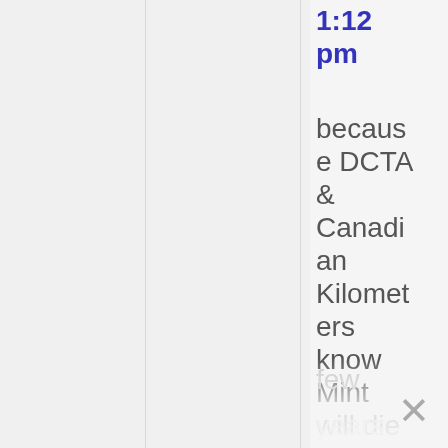1:12 pm
because DCTA & Canadian Kilometers know Mint will die soon, so that's why after
few years